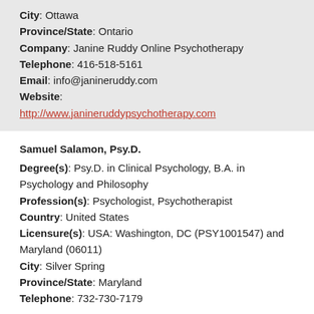City: Ottawa
Province/State: Ontario
Company: Janine Ruddy Online Psychotherapy
Telephone: 416-518-5161
Email: info@janineruddy.com
Website: http://www.janineruddypsychotherapy.com
Samuel Salamon, Psy.D.
Degree(s): Psy.D. in Clinical Psychology, B.A. in Psychology and Philosophy
Profession(s): Psychologist, Psychotherapist
Country: United States
Licensure(s): USA: Washington, DC (PSY1001547) and Maryland (06011)
City: Silver Spring
Province/State: Maryland
Telephone: 732-730-7179